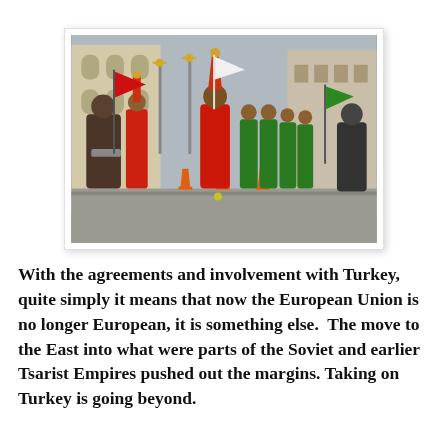[Figure (photo): A procession of performers in traditional Ottoman/Turkish costume marching through a city street. They wear tall ceremonial headwear and red and green robes, carrying flags and ornate staffs. Buildings are visible in the background.]
With the agreements and involvement with Turkey, quite simply it means that now the European Union is no longer European, it is something else.  The move to the East into what were parts of the Soviet and earlier Tsarist Empires pushed out the margins.  Taking on Turkey is going beyond.